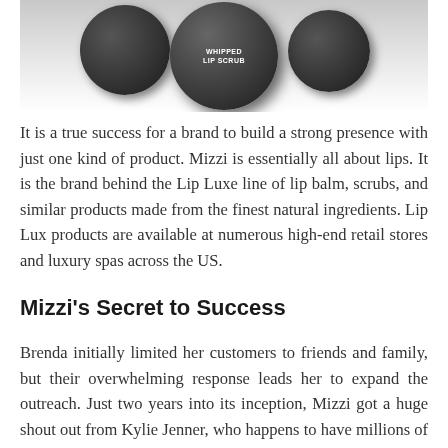[Figure (photo): Dark round jars of Whipped Lip Scrub product on a light background, partially cropped at top]
It is a true success for a brand to build a strong presence with just one kind of product. Mizzi is essentially all about lips. It is the brand behind the Lip Luxe line of lip balm, scrubs, and similar products made from the finest natural ingredients. Lip Lux products are available at numerous high-end retail stores and luxury spas across the US.
Mizzi’s Secret to Success
Brenda initially limited her customers to friends and family, but their overwhelming response leads her to expand the outreach. Just two years into its inception, Mizzi got a huge shout out from Kylie Jenner, who happens to have millions of followers. That is when